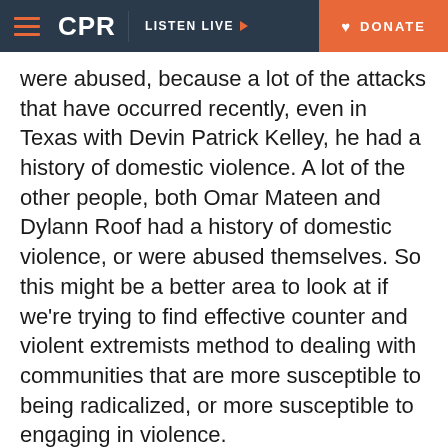CPR | LISTEN LIVE | DONATE
were abused, because a lot of the attacks that have occurred recently, even in Texas with Devin Patrick Kelley, he had a history of domestic violence. A lot of the other people, both Omar Mateen and Dylann Roof had a history of domestic violence, or were abused themselves. So this might be a better area to look at if we're trying to find effective counter and violent extremists method to dealing with communities that are more susceptible to being radicalized, or more susceptible to engaging in violence.
RW: Erin, how do you answer the question of why you do this work?